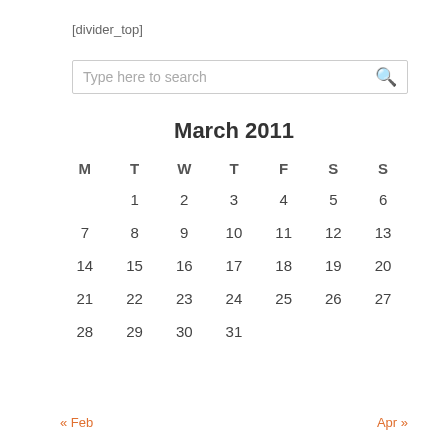[divider_top]
[Figure (screenshot): Search box with placeholder text 'Type here to search' and a search icon on the right]
| M | T | W | T | F | S | S |
| --- | --- | --- | --- | --- | --- | --- |
|  | 1 | 2 | 3 | 4 | 5 | 6 |
| 7 | 8 | 9 | 10 | 11 | 12 | 13 |
| 14 | 15 | 16 | 17 | 18 | 19 | 20 |
| 21 | 22 | 23 | 24 | 25 | 26 | 27 |
| 28 | 29 | 30 | 31 |  |  |  |
« Feb    Apr »